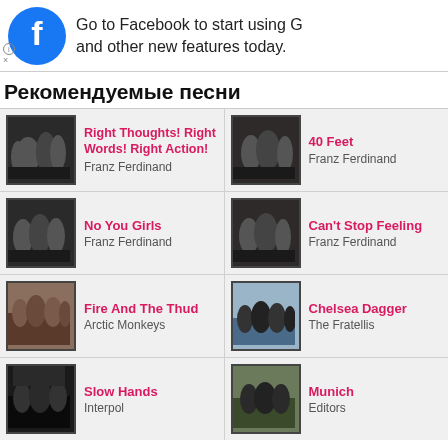[Figure (screenshot): Facebook ad banner with blue Facebook logo circle and text 'Go to Facebook to start using G and other new features today.']
Рекомендуемые песни
[Figure (photo): Album thumbnail - Franz Ferdinand band photo black and white]
Right Thoughts! Right Words! Right Action!
Franz Ferdinand
[Figure (photo): Album thumbnail - Franz Ferdinand band photo black and white]
40 Feet
Franz Ferdinand
[Figure (photo): Album thumbnail - Franz Ferdinand band photo black and white]
No You Girls
Franz Ferdinand
[Figure (photo): Album thumbnail - Franz Ferdinand band photo black and white]
Can't Stop Feeling
Franz Ferdinand
[Figure (photo): Album thumbnail - Arctic Monkeys band photo color]
Fire And The Thud
Arctic Monkeys
[Figure (photo): Album thumbnail - The Fratellis band photo]
Chelsea Dagger
The Fratellis
[Figure (photo): Album thumbnail - Interpol band photo black and white]
Slow Hands
Interpol
[Figure (photo): Album thumbnail - Editors band photo]
Munich
Editors